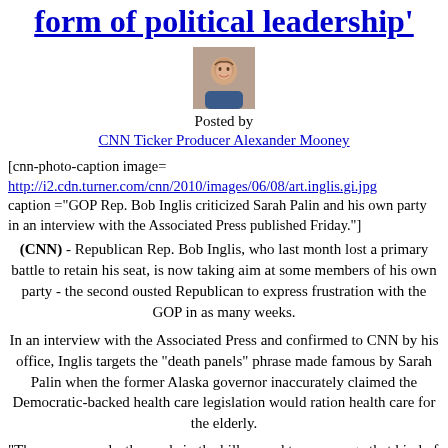form of political leadership'
[Figure (photo): Headshot photo of CNN Ticker Producer Alexander Mooney]
Posted by
CNN Ticker Producer Alexander Mooney
[cnn-photo-caption image= http://i2.cdn.turner.com/cnn/2010/images/06/08/art.inglis.gi.jpg caption ="GOP Rep. Bob Inglis criticized Sarah Palin and his own party in an interview with the Associated Press published Friday."]
(CNN) - Republican Rep. Bob Inglis, who last month lost a primary battle to retain his seat, is now taking aim at some members of his own party - the second ousted Republican to express frustration with the GOP in as many weeks.
In an interview with the Associated Press and confirmed to CNN by his office, Inglis targets the "death panels" phrase made famous by Sarah Palin when the former Alaska governor inaccurately claimed the Democratic-backed health care legislation would ration health care for the elderly.
"There were no death panels in the bill … and to encourage that kind of fear is just the lowest form of political leadership. It's not